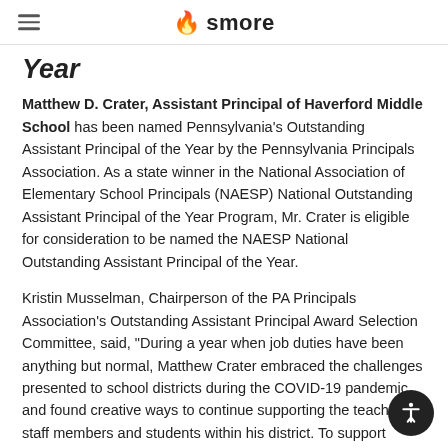smore
Year
Matthew D. Crater, Assistant Principal of Haverford Middle School has been named Pennsylvania's Outstanding Assistant Principal of the Year by the Pennsylvania Principals Association. As a state winner in the National Association of Elementary School Principals (NAESP) National Outstanding Assistant Principal of the Year Program, Mr. Crater is eligible for consideration to be named the NAESP National Outstanding Assistant Principal of the Year.
Kristin Musselman, Chairperson of the PA Principals Association's Outstanding Assistant Principal Award Selection Committee, said, "During a year when job duties have been anything but normal, Matthew Crater embraced the challenges presented to school districts during the COVID-19 pandemic and found creative ways to continue supporting the teachers, staff members and students within his district. To support social emotional needs and to create an environment of acceptance